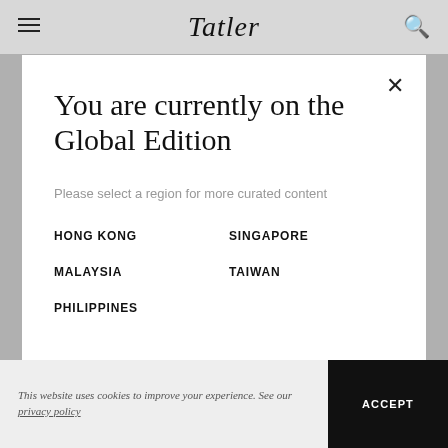Tatler
You are currently on the Global Edition
Please select a region for more curated content
HONG KONG
SINGAPORE
MALAYSIA
TAIWAN
PHILIPPINES
This website uses cookies to improve your experience. See our privacy policy